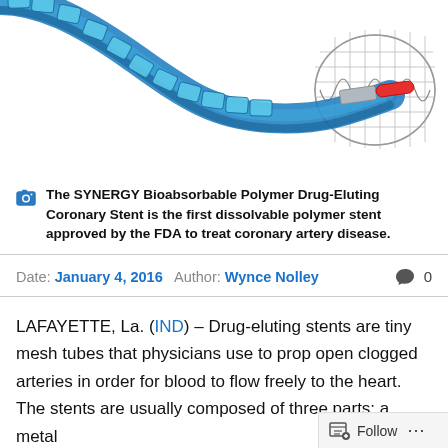[Figure (illustration): Illustration of the SYNERGY Bioabsorbable Polymer Drug-Eluting Coronary Stent — a blue flexible mesh tube/stent with a red-tipped catheter, shown curving across a white background with a wire mesh cone end.]
The SYNERGY Bioabsorbable Polymer Drug-Eluting Coronary Stent is the first dissolvable polymer stent approved by the FDA to treat coronary artery disease.
Date: January 4, 2016  Author: Wynce Nolley  💬 0
LAFAYETTE, La. (IND) – Drug-eluting stents are tiny mesh tubes that physicians use to prop open clogged arteries in order for blood to flow freely to the heart. The stents are usually composed of three parts: a metal